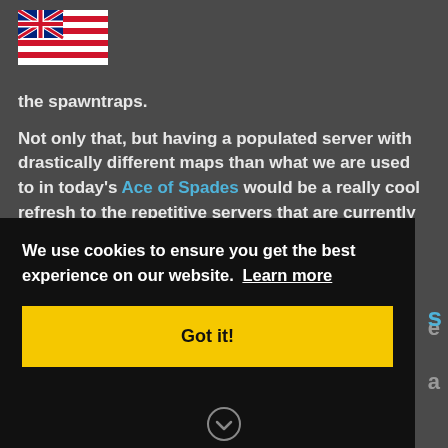[Figure (illustration): Hawaii state flag overlaid with UK Union Jack pattern - flag icon in top-left corner]
the spawntraps.
Not only that, but having a populated server with drastically different maps than what we are used to in today's Ace of Spades would be a really cool refresh to the repetitive servers that are currently populated.
We use cookies to ensure you get the best experience on our website. Learn more
Got it!